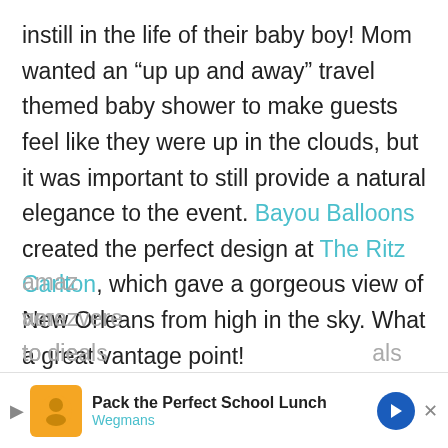instill in the life of their baby boy! Mom wanted an “up up and away” travel themed baby shower to make guests feel like they were up in the clouds, but it was important to still provide a natural elegance to the event. Bayou Balloons created the perfect design at The Ritz Carlton, which gave a gorgeous view of New Orleans from high in the sky. What a great vantage point!

A lavish tea party was created with the most amaz[ing flowers and arrangements] were to die[... florals